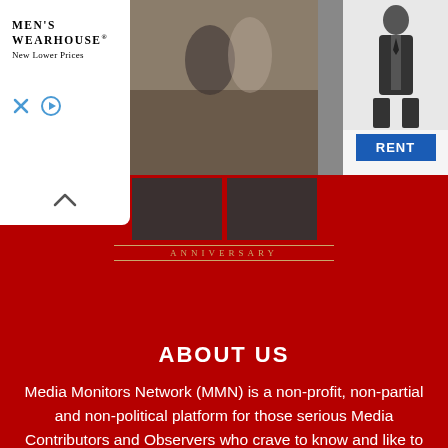[Figure (photo): Men's Wearhouse advertisement banner showing a man in a tuxedo with a woman in a formal dress, and a separate man in a dark suit, with a blue RENT button]
[Figure (logo): Anniversary logo with two dark image blocks and gold ANNIVERSARY text below with decorative lines]
ABOUT US
Media Monitors Network (MMN) is a non-profit, non-partial and non-political platform for those serious Media Contributors and Observers who crave to know and like to help to prevail the whole truth about current affairs, any